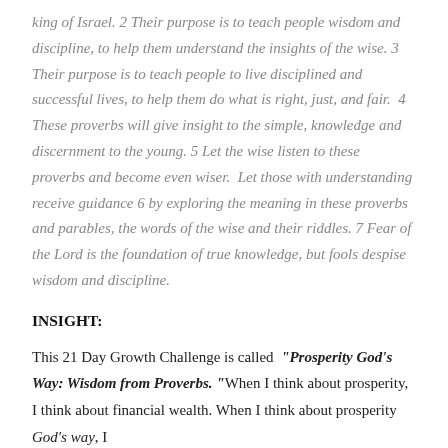king of Israel. 2 Their purpose is to teach people wisdom and discipline, to help them understand the insights of the wise. 3 Their purpose is to teach people to live disciplined and successful lives, to help them do what is right, just, and fair.  4 These proverbs will give insight to the simple, knowledge and discernment to the young. 5 Let the wise listen to these proverbs and become even wiser.  Let those with understanding receive guidance 6 by exploring the meaning in these proverbs and parables, the words of the wise and their riddles. 7 Fear of the Lord is the foundation of true knowledge, but fools despise wisdom and discipline.
INSIGHT:
This 21 Day Growth Challenge is called "Prosperity God's Way: Wisdom from Proverbs." When I think about prosperity, I think about financial wealth. When I think about prosperity God's way, I